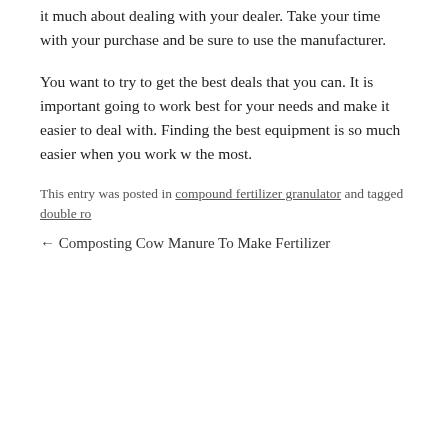it much about dealing with your dealer. Take your time with your purchase and be sure to use the manufacturer.
You want to try to get the best deals that you can. It is important going to work best for your needs and make it easier to deal with. Finding the best equipment is so much easier when you work with the most.
This entry was posted in compound fertilizer granulator and tagged double ro
← Composting Cow Manure To Make Fertilizer